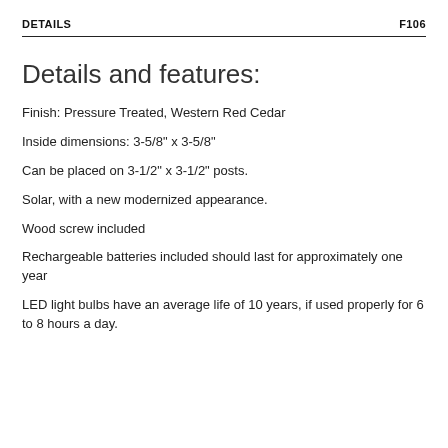DETAILS    F106
Details and features:
Finish: Pressure Treated, Western Red Cedar
Inside dimensions: 3-5/8" x 3-5/8"
Can be placed on 3-1/2" x 3-1/2" posts.
Solar, with a new modernized appearance.
Wood screw included
Rechargeable batteries included should last for approximately one year
LED light bulbs have an average life of 10 years, if used properly for 6 to 8 hours a day.